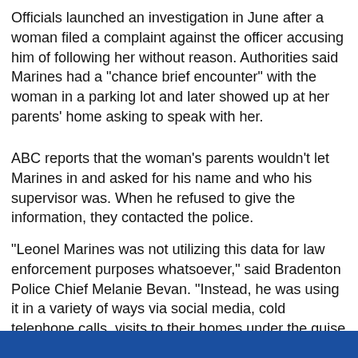Officials launched an investigation in June after a woman filed a complaint against the officer accusing him of following her without reason. Authorities said Marines had a "chance brief encounter" with the woman in a parking lot and later showed up at her parents' home asking to speak with her.
ABC reports that the woman's parents wouldn't let Marines in and asked for his name and who his supervisor was. When he refused to give the information, they contacted the police.
"Leonel Marines was not utilizing this data for law enforcement purposes whatsoever," said Bradenton Police Chief Melanie Bevan. "Instead, he was using it in a variety of ways via social media, cold telephone calls, visits to their homes under the guise of being there for police business, you name it, to try and get dates with these women."